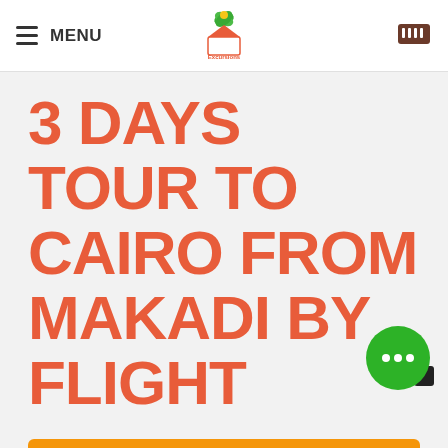MENU | [logo] | [cart]
3 DAYS TOUR TO CAIRO FROM MAKADI BY FLIGHT
BOOK NOW
INQUIRE BOOKING